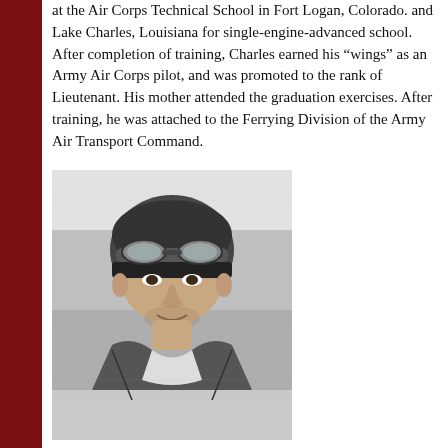at the Air Corps Technical School in Fort Logan, Colorado. and Lake Charles, Louisiana for single-engine-advanced school. After completion of training, Charles earned his “wings” as an Army Air Corps pilot, and was promoted to the rank of Lieutenant. His mother attended the graduation exercises. After training, he was attached to the Ferrying Division of the Army Air Transport Command.
[Figure (photo): Black and white newspaper photograph of a young man wearing a pilot's leather cap and flight goggles pushed up on his forehead, smiling at the camera, dressed in flight gear.]